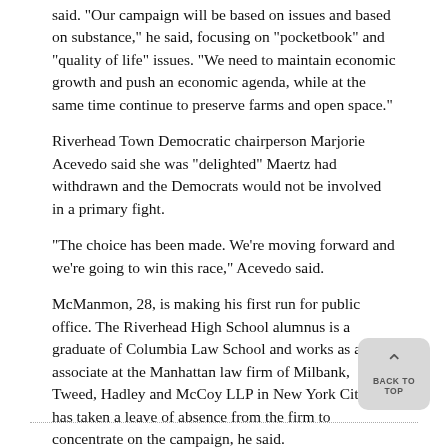said. "Our campaign will be based on issues and based on substance," he said, focusing on "pocketbook" and "quality of life" issues. "We need to maintain economic growth and push an economic agenda, while at the same time continue to preserve farms and open space."
Riverhead Town Democratic chairperson Marjorie Acevedo said she was "delighted" Maertz had withdrawn and the Democrats would not be involved in a primary fight.
"The choice has been made. We're moving forward and we're going to win this race," Acevedo said.
McManmon, 28, is making his first run for public office. The Riverhead High School alumnus is a graduate of Columbia Law School and works as an associate at the Manhattan law firm of Milbank, Tweed, Hadley and McCoy LLP in New York City. He has taken a leave of absence from the firm to concentrate on the campaign, he said.
Original article